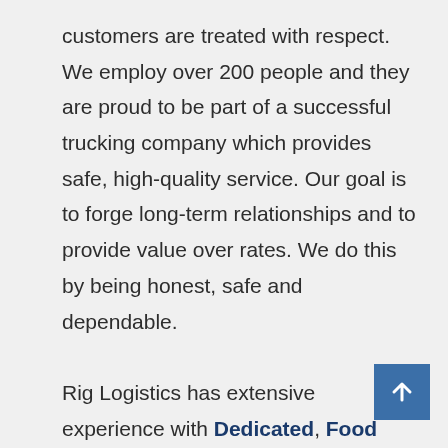customers are treated with respect. We employ over 200 people and they are proud to be part of a successful trucking company which provides safe, high-quality service. Our goal is to forge long-term relationships and to provide value over rates. We do this by being honest, safe and dependable.

Rig Logistics has extensive experience with Dedicated, Food Service, Temperature-Controlled and Heated freight. We also have long-standing Dry Van, TL General Freight, LCV, Intermodal Drayage, and Logistics